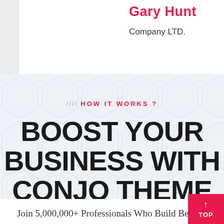Gary Hunt
Company LTD.
HOW IT WORKS ?
BOOST YOUR BUSINESS WITH CONJO THEME
Join 5,000,000+ Professionals Who Build Better Sites With Elementor the only complete design platform to offer new designs. Building beautiful WordPress websites has never been easier. Build